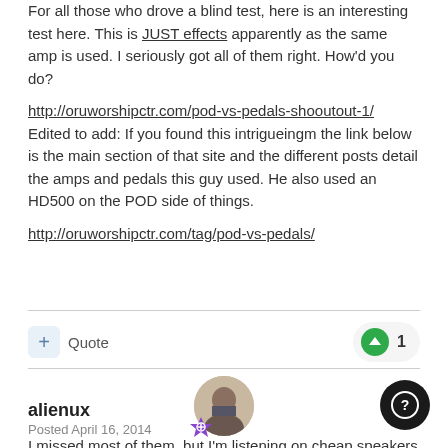For all those who drove a blind test, here is an interesting test here. This is JUST effects apparently as the same amp is used. I seriously got all of them right. How'd you do?
http://oruworshipctr.com/pod-vs-pedals-shooutout-1/
Edited to add: If you found this intrigueingm the link below is the main section of that site and the different posts detail the amps and pedals this guy used. He also used an HD500 on the POD side of things.
http://oruworshipctr.com/tag/pod-vs-pedals/
alienux
Posted April 16, 2014
I missed most of them, but I'm listening on cheap speakers at